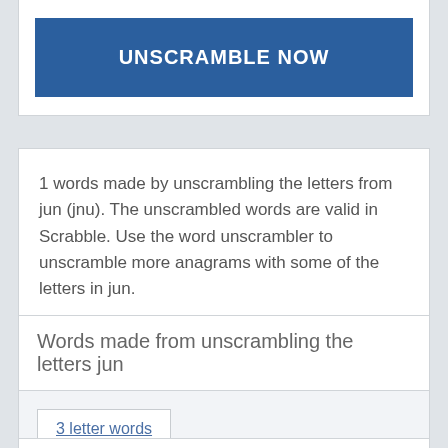UNSCRAMBLE NOW
1 words made by unscrambling the letters from jun (jnu). The unscrambled words are valid in Scrabble. Use the word unscrambler to unscramble more anagrams with some of the letters in jun.
Words made from unscrambling the letters jun
3 letter words